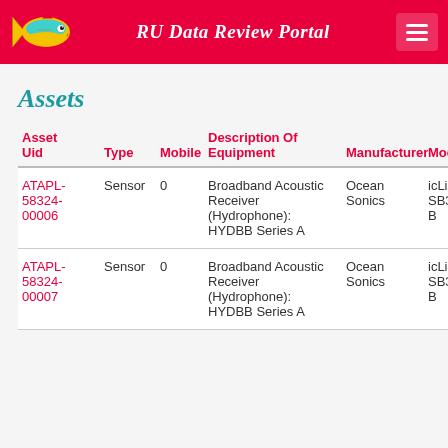RU Data Review Portal
Assets
| Asset Uid | Type | Mobile | Description Of Equipment | Manufacturer | Model |
| --- | --- | --- | --- | --- | --- |
| ATAPL-58324-00006 | Sensor | 0 | Broadband Acoustic Receiver (Hydrophone): HYDBB Series A | Ocean Sonics | icListe SB35-B |
| ATAPL-58324-00007 | Sensor | 0 | Broadband Acoustic Receiver (Hydrophone): HYDBB Series A | Ocean Sonics | icListe SB35-B |